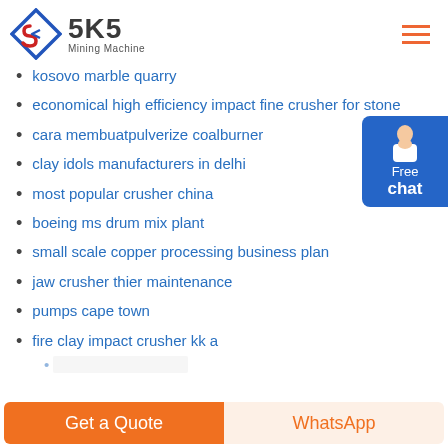SKS Mining Machine
kosovo marble quarry
economical high efficiency impact fine crusher for stone
cara membuatpulverize coalburner
clay idols manufacturers in delhi
most popular crusher china
boeing ms drum mix plant
small scale copper processing business plan
jaw crusher thier maintenance
pumps cape town
fire clay impact crusher kk a
Get a Quote | WhatsApp